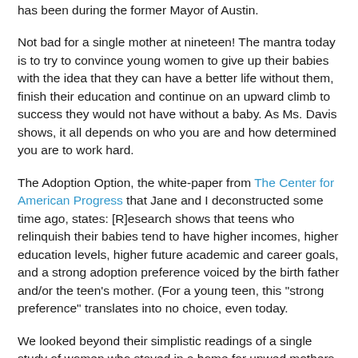has been during the former Mayor of Austin.
Not bad for a single mother at nineteen! The mantra today is to try to convince young women to give up their babies with the idea that they can have a better life without them, finish their education and continue on an upward climb to success they would not have without a baby. As Ms. Davis shows, it all depends on who you are and how determined you are to work hard.
The Adoption Option, the white-paper from The Center for American Progress that Jane and I deconstructed some time ago, states: [R]esearch shows that teens who relinquish their babies tend to have higher incomes, higher education levels, higher future academic and career goals, and a strong adoption preference voiced by the birth father and/or the teen's mother. (For a young teen, this "strong preference" translates into no choice, even today.
We looked beyond their simplistic readings of a single study of women who stayed in a home for unwed mothers, and pointed out their fallacies and wrote of how the grief that most women encounter after relinquishment leads to lifelong